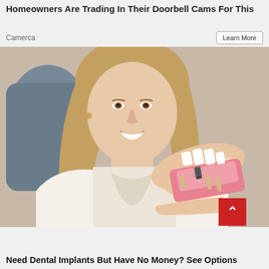Homeowners Are Trading In Their Doorbell Cams For This
Camerca
Learn More
[Figure (photo): A smiling woman with long blonde hair sitting in a dental chair. A pair of hands holds up a dental implant model showing teeth and implant cross-section. Medical office background.]
Need Dental Implants But Have No Money? See Options